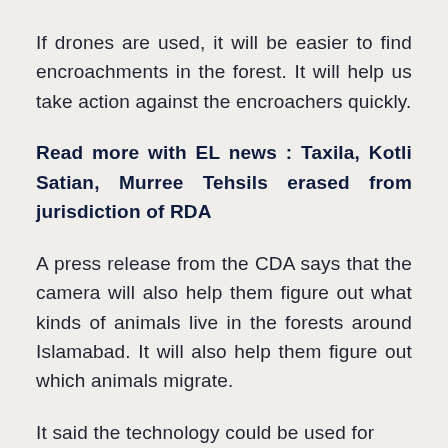If drones are used, it will be easier to find encroachments in the forest. It will help us take action against the encroachers quickly.
Read more with EL news : Taxila, Kotli Satian, Murree Tehsils erased from jurisdiction of RDA
A press release from the CDA says that the camera will also help them figure out what kinds of animals live in the forests around Islamabad. It will also help them figure out which animals migrate.
It said the technology could be used for